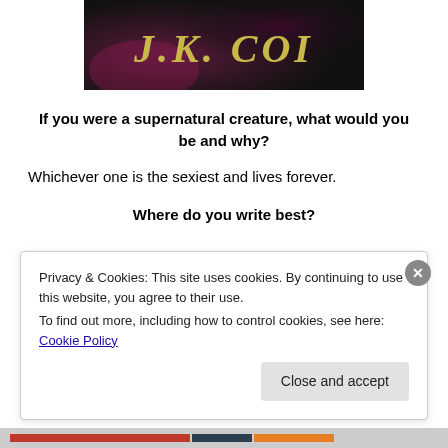[Figure (illustration): Dark background banner image with gold stylized text reading 'J.K. COI']
If you were a supernatural creature, what would you be and why?
Whichever one is the sexiest and lives forever.
Where do you write best?
Privacy & Cookies: This site uses cookies. By continuing to use this website, you agree to their use.
To find out more, including how to control cookies, see here: Cookie Policy
Close and accept